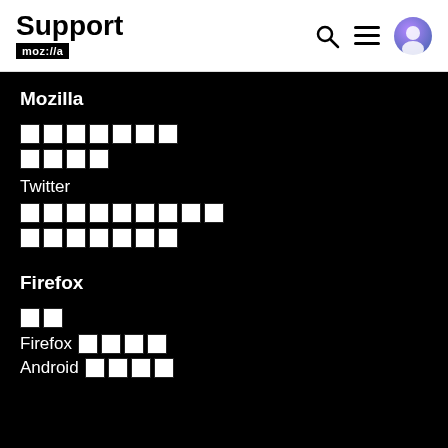Support mozilla
Mozilla
[Figure (screenshot): Redacted/censored text blocks representing menu items under Mozilla section]
Twitter
[Figure (screenshot): Redacted/censored text blocks representing Twitter-related links]
Firefox
[Figure (screenshot): Redacted/censored text blocks under Firefox section]
Firefox
Android